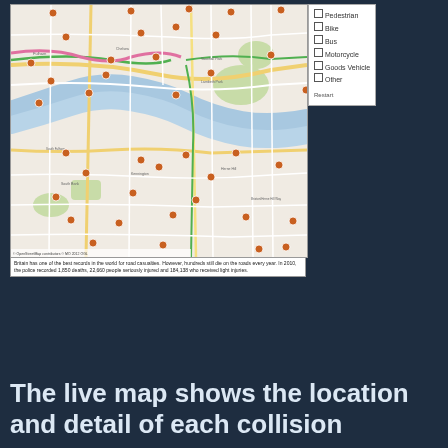[Figure (map): A street map of London showing accident/collision locations marked with orange/brown dot markers scattered across the road network. The map shows the River Thames winding through the city, with green spaces visible. A legend panel on the right shows checkbox filters for different road user types: Pedestrian, Bike, Bus, Motorcycle, Goods Vehicle, Other.]
Britain has one of the best records in the world for road casualties. However, hundreds still die on the roads every year. In 2010, the police recorded 1,850 deaths, 22,660 people seriously injured and 184,138 who received light injuries.
The live map shows the location and detail of each collision